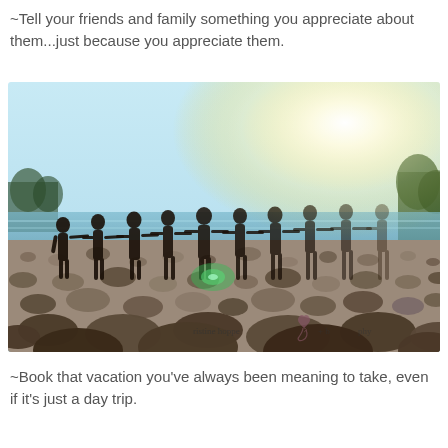~Tell your friends and family something you appreciate about them...just because you appreciate them.
[Figure (photo): Group of approximately 10 people standing in a line holding hands on a rocky/pebbly beach shore, silhouetted against a bright sky with sun glare, water and trees in background. Low angle shot with pebbles in foreground. Watermark reads 'ristine hoppe + b phy']
~Book that vacation you've always been meaning to take, even if it's just a day trip.